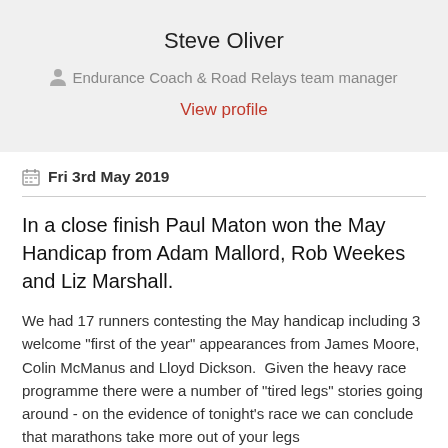Steve Oliver
Endurance Coach & Road Relays team manager
View profile
Fri 3rd May 2019
In a close finish Paul Maton won the May Handicap from Adam Mallord, Rob Weekes and Liz Marshall.
We had 17 runners contesting the May handicap including 3 welcome "first of the year" appearances from James Moore, Colin McManus and Lloyd Dickson.  Given the heavy race programme there were a number of "tired legs" stories going around - on the evidence of tonight's race we can conclude that marathons take more out of your legs than TRACK!